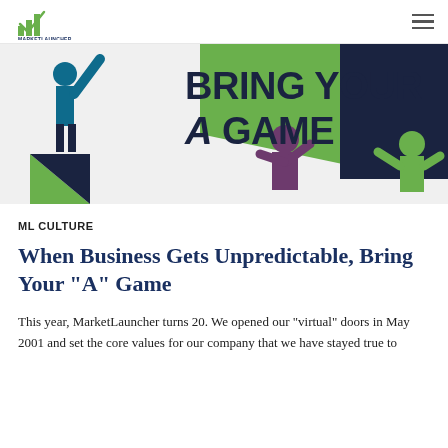MarketLauncher logo and navigation
[Figure (illustration): Illustrated banner showing people holding up a sign that reads 'BRING YOUR A GAME' with green and dark triangular geometric shapes in the background.]
ML CULTURE
When Business Gets Unpredictable, Bring Your “A” Game
This year, MarketLauncher turns 20. We opened our “virtual” doors in May 2001 and set the core values for our company that we have stayed true to